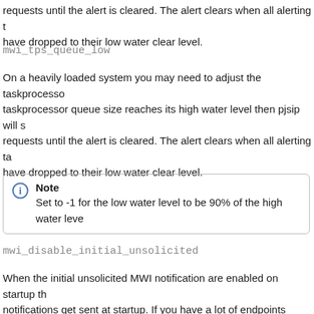requests until the alert is cleared. The alert clears when all alerting tasks have dropped to their low water clear level.
mwi_tps_queue_low
On a heavily loaded system you may need to adjust the taskprocessor taskprocessor queue size reaches its high water level then pjsip will s requests until the alert is cleared. The alert clears when all alerting ta have dropped to their low water clear level.
Note
Set to -1 for the low water level to be 90% of the high water leve
mwi_disable_initial_unsolicited
When the initial unsolicited MWI notification are enabled on startup th notifications get sent at startup. If you have a lot of endpoints (thousa unsolicited MWI then you may want to consider disabling the initial sta
When the initial unsolicited MWI notifications are disabled on startup will start on the endpoint's next contact update.
ignore_uri_user_options
If you have this option enabled and there are semicolons in the user